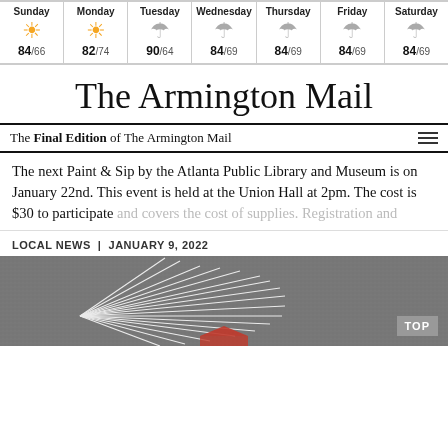| Sunday | Monday | Tuesday | Wednesday | Thursday | Friday | Saturday |
| --- | --- | --- | --- | --- | --- | --- |
| ☀ | ☀ | ☂ | ☂ | ☂ | ☂ | ☂ |
| 84/66 | 82/74 | 90/64 | 84/69 | 84/69 | 84/69 | 84/69 |
The Armington Mail
The Final Edition of The Armington Mail
The next Paint & Sip by the Atlanta Public Library and Museum is on January 22nd. This event is held at the Union Hall at 2pm. The cost is $30 to participate and covers the cost of supplies. Registration and
LOCAL NEWS  |  JANUARY 9, 2022
[Figure (photo): Aerial or close-up photo of road with white painted lines/arrows on dark asphalt surface, with a partial red sign visible at bottom]